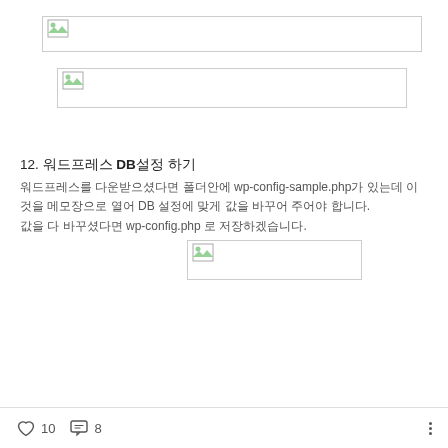[Figure (screenshot): Broken image placeholder 1 — wide horizontal image box with broken image icon on left]
[Figure (screenshot): Broken image placeholder 2 — wide horizontal image box with broken image icon on left]
12. 워드프레스 DB설정 하기
워드프레스를 다운받으셨다면 폴더안에 wp-config-sample.php가 있는데 이것을 메모장으로 열어 DB 설정에 맞게 값을 바꾸어 주어야 합니다.
값을 다 바꾸셨다면 wp-config.php 로 저장하겠습니다.
[Figure (screenshot): Broken image placeholder 3 — medium horizontal image box with broken image icon on left]
10  8  ···